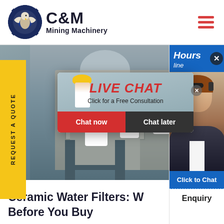[Figure (logo): C&M Mining Machinery logo with eagle in gear emblem, dark navy blue, with company name text]
[Figure (photo): Mining machinery website screenshot showing workers in yellow helmets, live chat popup overlay, right-side chat panel with agent photo]
Ceramic Water Filters: W[hat You Need to Know] Before You Buy